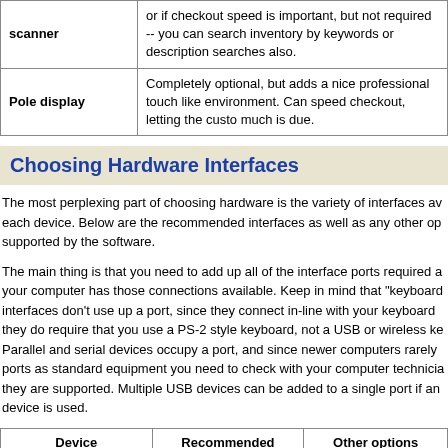|  |  |
| --- | --- |
| scanner | or if checkout speed is important, but not required -- you can search inventory by keywords or description searches also. |
| Pole display | Completely optional, but adds a nice professional touch like environment. Can speed checkout, letting the customer see how much is due. |
Choosing Hardware Interfaces
The most perplexing part of choosing hardware is the variety of interfaces available for each device. Below are the recommended interfaces as well as any other options supported by the software.
The main thing is that you need to add up all of the interface ports required and make sure your computer has those connections available. Keep in mind that "keyboard" interfaces don't use up a port, since they connect in-line with your keyboard -- but they do require that you use a PS-2 style keyboard, not a USB or wireless keyboard. Parallel and serial devices occupy a port, and since newer computers rarely have these ports as standard equipment you need to check with your computer technician to see if they are supported. Multiple USB devices can be added to a single port if an external device is used.
| Device | Recommended | Other options |
| --- | --- | --- |
| Receipt printer * | USB | Serial, Parallel |
| Cash drawer | Through printer | USB****, Serial |